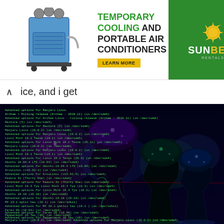[Figure (advertisement): Banner advertisement for Temporary Cooling and Portable Air Conditioners with an AC unit image on left, green text headline, yellow LEARN MORE button, and Sunbelt Rentals logo on green background on right]
ice, and i get
[Figure (photo): Screenshot of a GRUB bootloader menu on a computer monitor showing multiple Linux distribution options including Manjaro, Arch, Ubuntu, Fedora, Linux Mint etc., overlaid with a colorful illuminated garden scene showing large glowing tree structures (likely Gardens by the Bay, Singapore) with purple, blue and green lights in the background]